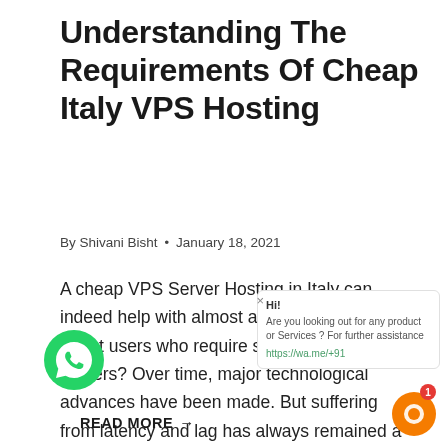Understanding The Requirements Of Cheap Italy VPS Hosting
By Shivani Bisht  •  January 18, 2021
A cheap VPS Server Hosting in Italy can indeed help with almost anything. But what about users who require strong and robust servers? Over time, major technological advances have been made. But suffering from latency and lag has always remained a struggle for fans all over the world. There can be no doubt that modern…
READ MORE →